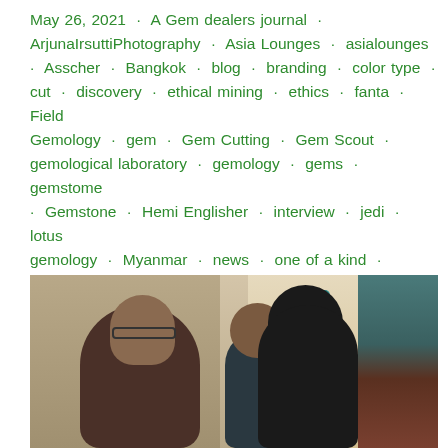May 26, 2021 · A Gem dealers journal · ArjunaIrsuttiPhotography · Asia Lounges · asialounges · Asscher · Bangkok · blog · branding · color type · cut · discovery · ethical mining · ethics · fanta · Field Gemology · gem · Gem Cutting · Gem Scout · gemological laboratory · gemology · gems · gemstome · Gemstone · Hemi Englisher · interview · jedi · lotus gemology · Myanmar · news · one of a kind · Photography · Richard W Hughes · Simon Dussart · Simon Sai Dussart · spessartite · spinel · Thailand · tradition · Yuval Englisher
[Figure (photo): Three people sitting together in a room with natural window light. An older man with glasses on the left, a woman in the middle, and another person on the right with their back to camera. Teal decorative elements visible on the right side.]